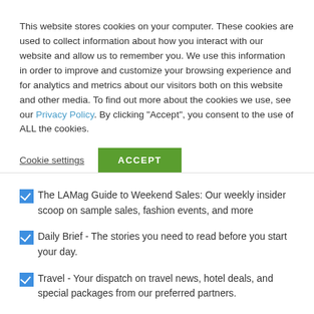This website stores cookies on your computer. These cookies are used to collect information about how you interact with our website and allow us to remember you. We use this information in order to improve and customize your browsing experience and for analytics and metrics about our visitors both on this website and other media. To find out more about the cookies we use, see our Privacy Policy. By clicking "Accept", you consent to the use of ALL the cookies.
Cookie settings | ACCEPT
The LAMag Guide to Weekend Sales: Our weekly insider scoop on sample sales, fashion events, and more
Daily Brief - The stories you need to read before you start your day.
Travel - Your dispatch on travel news, hotel deals, and special packages from our preferred partners.